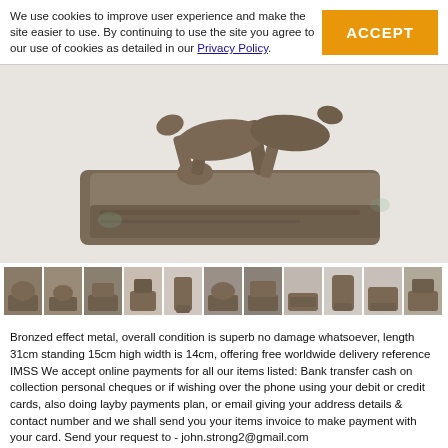We use cookies to improve user experience and make the site easier to use. By continuing to use the site you agree to our use of cookies as detailed in our Privacy Policy.
[Figure (photo): Close-up photo of the base of a bronzed effect metal sculpture showing two greyhound/dog figures on a rectangular plinth, with bronze/dark brown patina]
[Figure (photo): Row of 11 thumbnail images showing different angles of a bronzed effect metal animal sculpture]
Bronzed effect metal, overall condition is superb no damage whatsoever, length 31cm standing 15cm high width is 14cm, offering free worldwide delivery reference IMSS We accept online payments for all our items listed: Bank transfer cash on collection personal cheques or if wishing over the phone using your debit or credit cards, also doing layby payments plan, or email giving your address details & contact number and we shall send you your items invoice to make payment with your card. Send your request to - john.strong2@gmail.com